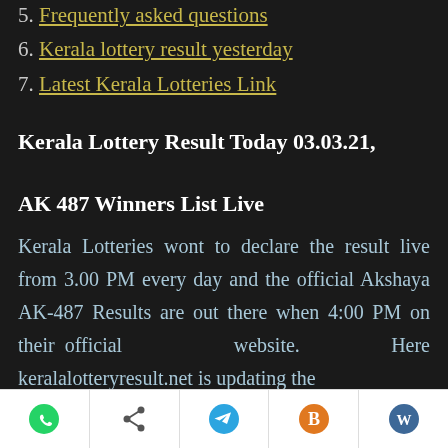5. Frequently asked questions
6. Kerala lottery result yesterday
7. Latest Kerala Lotteries Link
Kerala Lottery Result Today 03.03.21, AK 487 Winners List Live
Kerala Lotteries wont to declare the result live from 3.00 PM every day and the official Akshaya AK-487 Results are out there when 4:00 PM on their official website. Here keralalotteryresult.net is updating the
Social share icons: WhatsApp, Share, Telegram, Blogger, WordPress